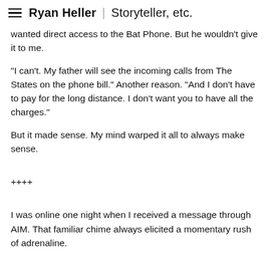Ryan Heller | Storyteller, etc.
wanted direct access to the Bat Phone. But he wouldn't give it to me.
"I can't. My father will see the incoming calls from The States on the phone bill." Another reason. "And I don't have to pay for the long distance. I don't want you to have all the charges."
But it made sense. My mind warped it all to always make sense.
++++
I was online one night when I received a message through AIM. That familiar chime always elicited a momentary rush of adrenaline.